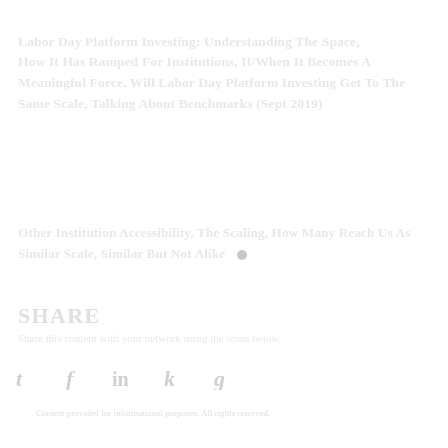Labor Day Platform Investing: Understanding The Space, How It Has Ramped For Institutions, If/When It Becomes A Meaningful Force, Will Labor Day Platform Investing Get To The Same Scale, Talking About Benchmarks (Sept 2019)
Other Institution Accessibility, The Scaling, How Many Reach Us As Similar Scale, Similar But Not Alike
SHARE
Share icons: Twitter, Facebook, LinkedIn, Email, Google+